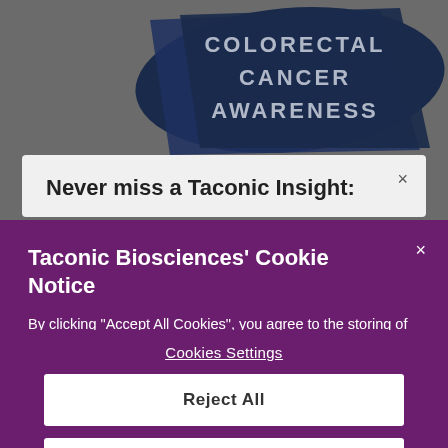[Figure (illustration): Colorectal Cancer Awareness banner with dark blue brushstroke design and white/light text reading COLORECTAL CANCER AWARENESS on a grey background]
Never miss a Taconic Insight:
Taconic Biosciences' Cookie Notice
By clicking “Accept All Cookies”, you agree to the storing of cookies on your device to enhance site navigation, analyze site usage, and assist in our marketing efforts.  Privacy Policy
Cookies Settings
Reject All
Accept All Cookies